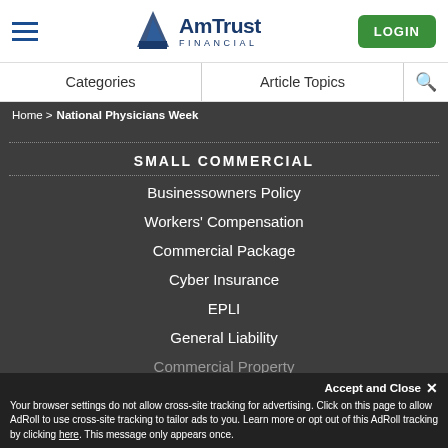[Figure (logo): AmTrust Financial logo with blue triangle/A shape and LOGIN button]
Categories | Article Topics | Search
Home > National Physicians Week
SMALL COMMERCIAL
Businessowners Policy
Workers' Compensation
Commercial Package
Cyber Insurance
EPLI
General Liability
Commercial Property
AmTrust EXEC
Accept and Close ×
Your browser settings do not allow cross-site tracking for advertising. Click on this page to allow AdRoll to use cross-site tracking to tailor ads to you. Learn more or opt out of this AdRoll tracking by clicking here. This message only appears once.